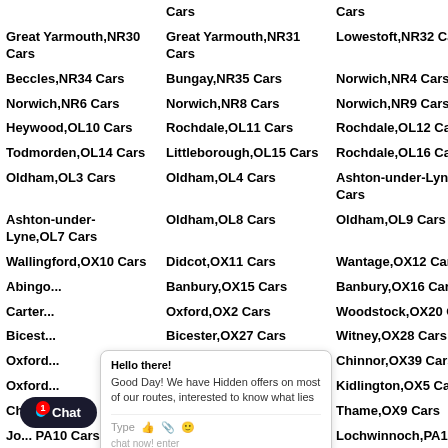Cars | Cars
Great Yarmouth,NR30 Cars | Great Yarmouth,NR31 Cars | Lowestoft,NR32 Cars | Lo...
Beccles,NR34 Cars | Bungay,NR35 Cars | Norwich,NR4 Cars | No...
Norwich,NR6 Cars | Norwich,NR8 Cars | Norwich,NR9 Cars | Ol...
Heywood,OL10 Cars | Rochdale,OL11 Cars | Rochdale,OL12 Cars | Ba...
Todmorden,OL14 Cars | Littleborough,OL15 Cars | Rochdale,OL16 Cars | Ol...
Oldham,OL3 Cars | Oldham,OL4 Cars | Ashton-under-Lyne,OL5 Cars | As... Ca...
Ashton-under-Lyne,OL7 Cars | Oldham,OL8 Cars | Oldham,OL9 Cars | Ox...
Wallingford,OX10 Cars | Didcot,OX11 Cars | Wantage,OX12 Cars | Ab...
Abingdon... | Banbury,OX15 Cars | Banbury,OX16 Cars | Ba...
Carterton... | Oxford,OX2 Cars | Woodstock,OX20 Cars | Bi...
Bicester... | Bicester,OX27 Cars | Witney,OX28 Cars | Wi...
Oxford... | Oxford,OX33 Cars | Chinnor,OX39 Cars | Ox...
Oxford... | Watlington,OX49 Cars | Kidlington,OX5 Cars | Ox...
Chipping... Cars | Oxford,OX8 Cars | Thame,OX9 Cars | Pa...
Johnstone,PA10 Cars | Bridge Of Weir,PA11 Cars | Lochwinnoch,PA12 Cars | Kil...